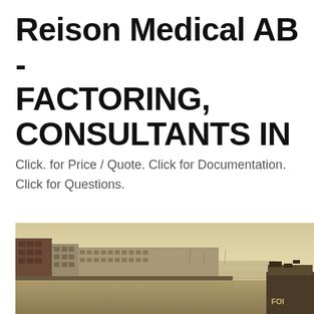Reison Medical AB - FACTORING, CONSULTANTS IN
Click. for Price / Quote. Click for Documentation. Click for Questions.
[Figure (photo): Sepia-toned photograph of a European harbour waterfront with historic warehouse buildings lining the water, a boat visible at the right, and a foggy/hazy sky above.]